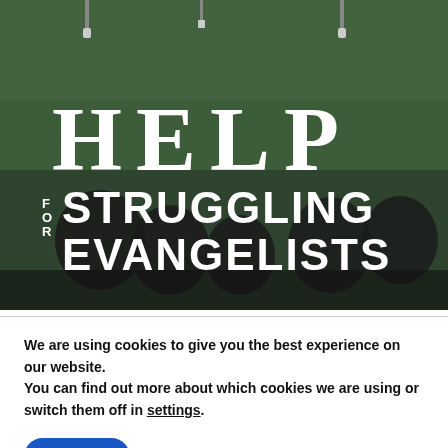[Figure (photo): Dark green-tinted photo of a cafe or classroom interior with silhouettes of people seated, pendant lights hanging from ceiling. Overlaid with large white bold text reading 'HELP FOR STRUGGLING EVANGELISTS'.]
We are using cookies to give you the best experience on our website.
You can find out more about which cookies we are using or switch them off in settings.
Accept